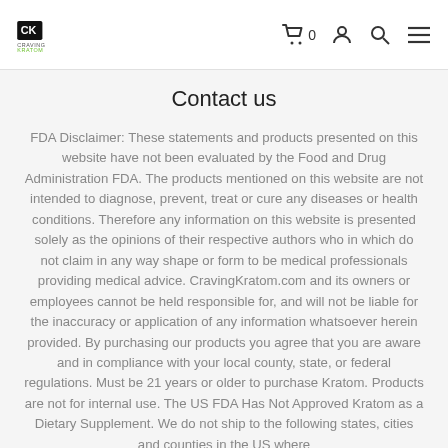Craving Kratom logo and navigation icons
Contact us
FDA Disclaimer: These statements and products presented on this website have not been evaluated by the Food and Drug Administration FDA. The products mentioned on this website are not intended to diagnose, prevent, treat or cure any diseases or health conditions. Therefore any information on this website is presented solely as the opinions of their respective authors who in which do not claim in any way shape or form to be medical professionals providing medical advice. CravingKratom.com and its owners or employees cannot be held responsible for, and will not be liable for the inaccuracy or application of any information whatsoever herein provided. By purchasing our products you agree that you are aware and in compliance with your local county, state, or federal regulations. Must be 21 years or older to purchase Kratom. Products are not for internal use. The US FDA Has Not Approved Kratom as a Dietary Supplement. We do not ship to the following states, cities and counties in the US where